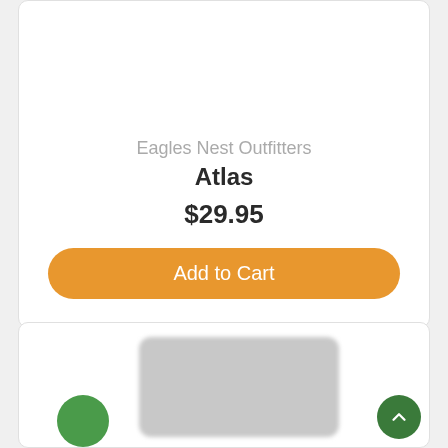Eagles Nest Outfitters
Atlas
$29.95
Add to Cart
[Figure (photo): Product card showing a gray rectangular product (blurred) with a green circle element at bottom left and a back-to-top green circle button at bottom right]